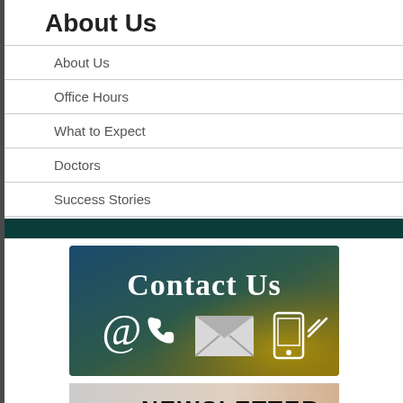About Us
About Us
Office Hours
What to Expect
Doctors
Success Stories
[Figure (illustration): Contact Us banner image with gradient background (blue to olive/gold), showing white text 'Contact Us' and icons: @ symbol, phone handset, envelope, and mobile phone with signal bars.]
[Figure (photo): Partial newsletter image showing the word NEWSLETTER in bold black text over a photo background.]